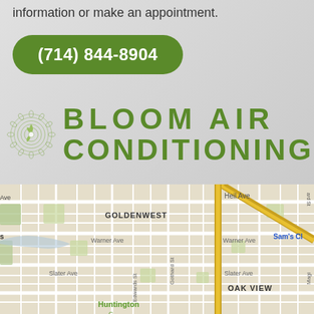information or make an appointment.
(714) 844-8904
[Figure (logo): Bloom Air Conditioning logo with a circular fan/flower design in green on the left, and the text BLOOM AIR CONDITIONING in large green spaced letters on the right]
[Figure (map): Street map showing Goldenwest and Oak View areas near Huntington, with streets including Heil Ave, Warner Ave, Slater Ave, Edwards St, Gothard St, and a highway diagonal road. Sam's Club visible in upper right.]